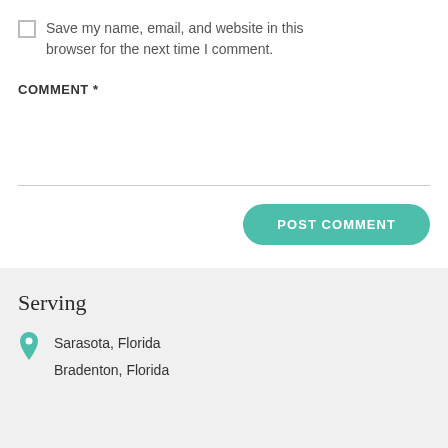Save my name, email, and website in this browser for the next time I comment.
COMMENT *
POST COMMENT
Serving
Sarasota, Florida
Bradenton, Florida